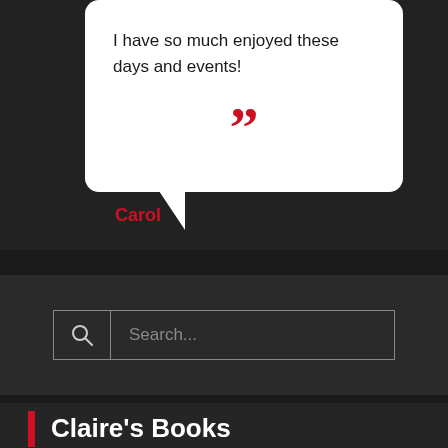I have so much enjoyed these days and events!
[Figure (illustration): Large red closing double quotation mark symbol inside white speech bubble]
Carol
[Figure (screenshot): Search bar with magnifying glass icon and placeholder text 'Search...']
Claire's Books